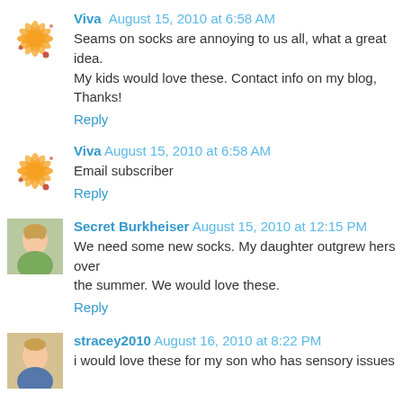Viva August 15, 2010 at 6:58 AM
Seams on socks are annoying to us all, what a great idea. My kids would love these. Contact info on my blog, Thanks!
Reply
Viva August 15, 2010 at 6:58 AM
Email subscriber
Reply
Secret Burkheiser August 15, 2010 at 12:15 PM
We need some new socks. My daughter outgrew hers over the summer. We would love these.
Reply
stracey2010 August 16, 2010 at 8:22 PM
i would love these for my son who has sensory issues